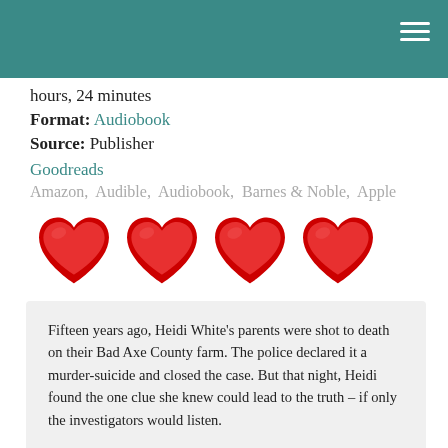hours, 24 minutes
Format: Audiobook
Source: Publisher
Goodreads
Amazon,  Audible,  Audiobook,  Barnes & Noble,  Apple
[Figure (illustration): Four red heart emojis in a row representing a 4-heart rating]
Fifteen years ago, Heidi White's parents were shot to death on their Bad Axe County farm. The police declared it a murder-suicide and closed the case. But that night, Heidi found the one clue she knew could lead to the truth – if only the investigators would listen.

Now, Heidi White is Heidi Kick, wife of local baseball legend Harley Kick and mother of three small children. She's also the interim sheriff in Bad Axe. Half the county wants Heidi elected, but the other half will do anything to